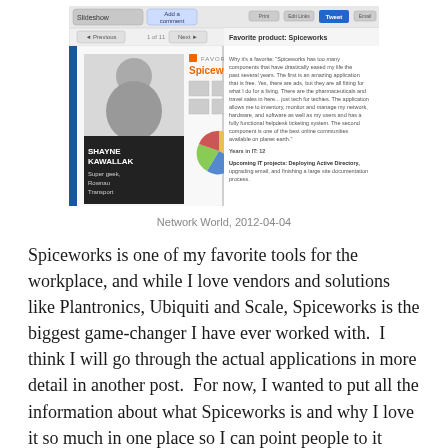[Figure (screenshot): Screenshot of a Spiceworks profile page on Network World showing 'Favorite Product: Spiceworks' with a photo of Shayne Kawallak, job title 'Super geek, Revnau Transport', and text about why Spiceworks is a favorite tool.]
Network World, 2012-04-04
Spiceworks is one of my favorite tools for the workplace, and while I love vendors and solutions like Plantronics, Ubiquiti and Scale, Spiceworks is the biggest game-changer I have ever worked with.  I think I will go through the actual applications in more detail in another post.  For now, I wanted to put all the information about what Spiceworks is and why I love it so much in one place so I can point people to it rather than summarizing it every couple months in different conversations.